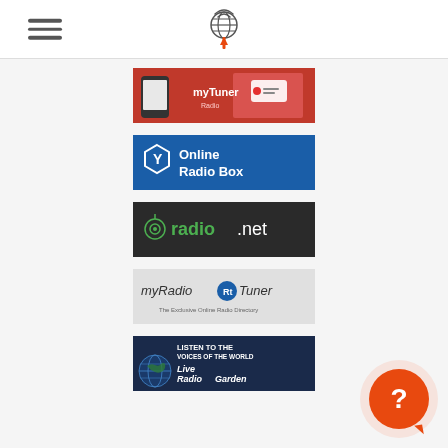Navigation header with hamburger menu and radio website logo
[Figure (logo): myTuner Radio app logo - red background with phone and radio icon, text 'myTuner Radio']
[Figure (logo): Online Radio Box logo - blue background with hexagon Y icon and text 'Online Radio Box']
[Figure (logo): radio.net logo - dark background with green 'radio.net' text and antenna icon]
[Figure (logo): myRadioTuner logo - grey background with text 'myRadioTuner - The Exclusive Online Radio Directory']
[Figure (logo): Live Radio Garden logo - dark blue background with earth globe image and text 'LISTEN TO THE VOICES OF THE WORLD Live Radio Garden']